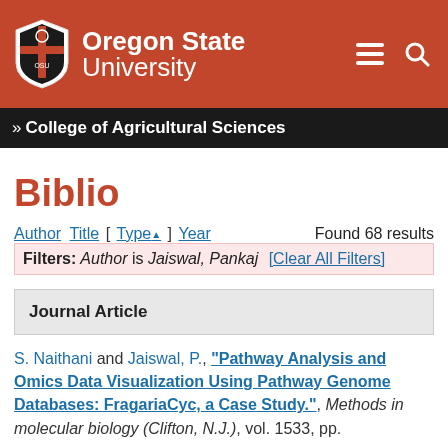[Figure (logo): Oregon State University logo with shield and wordmark on red background with hamburger menu and search icons]
» College of Agricultural Sciences
Biblio
Author Title [ Type ▲ ] Year   Found 68 results
Filters: Author is Jaiswal, Pankaj [Clear All Filters]
Journal Article
S. Naithani and Jaiswal, P., "Pathway Analysis and Omics Data Visualization Using Pathway Genome Databases: FragariaCyc, a Case Study.", Methods in molecular biology (Clifton, N.J.), vol. 1533, pp.